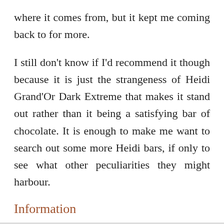where it comes from, but it kept me coming back to for more.
I still don't know if I'd recommend it though because it is just the strangeness of Heidi Grand'Or Dark Extreme that makes it stand out rather than it being a satisfying bar of chocolate. It is enough to make me want to search out some more Heidi bars, if only to see what other peculiarities they might harbour.
Information
Contains dark chocolate (85% cocoa solids).
Filed under heidi, romania.